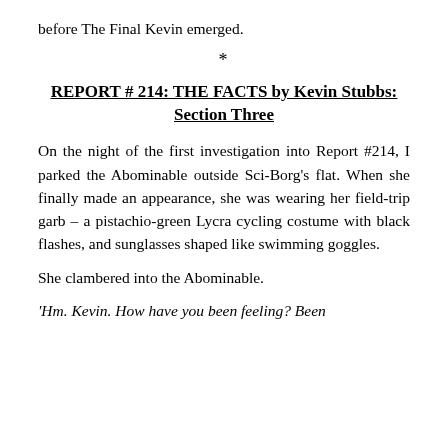before The Final Kevin emerged.
*
REPORT # 214: THE FACTS by Kevin Stubbs: Section Three
On the night of the first investigation into Report #214, I parked the Abominable outside Sci-Borg’s flat. When she finally made an appearance, she was wearing her field-trip garb – a pistachio-green Lycra cycling costume with black flashes, and sunglasses shaped like swimming goggles.
She clambered into the Abominable.
‘Hm. Kevin. How have you been feeling? Been